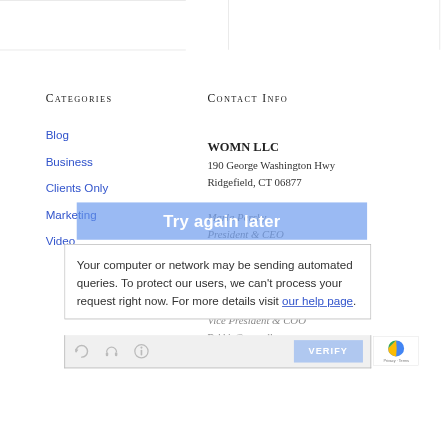Categories
Contact Info
Blog
Business
Clients Only
Marketing
Video
WOMN LLC
190 George Washington Hwy
Ridgefield, CT 06877
Marla Persky
President & CEO
Marla@womnllc.com
203-482-0192
Debra Goodman Holzman
Vice President & COO
Debbie@womnllc.com
Try again later
Your computer or network may be sending automated queries. To protect our users, we can't process your request right now. For more details visit our help page.